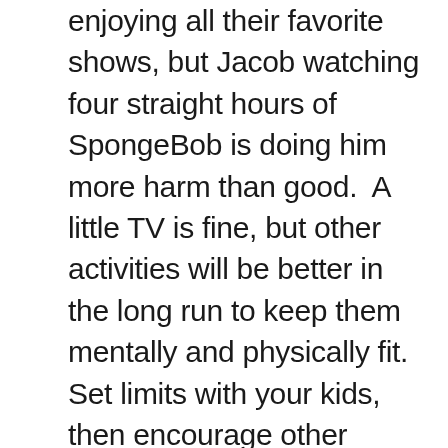enjoying all their favorite shows, but Jacob watching four straight hours of SpongeBob is doing him more harm than good.  A little TV is fine, but other activities will be better in the long run to keep them mentally and physically fit.  Set limits with your kids, then encourage other pursuits, from puppet shows to hallway bowling to creating masterpieces from dried pasta. Still stumped? Plenty of websites offer fun ideas for bored kids and their parents. If it's